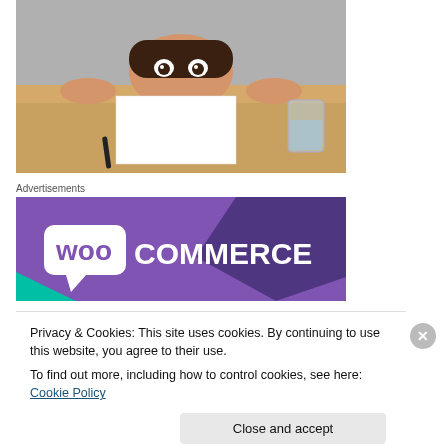[Figure (photo): A person peeking over a wooden desk with wide eyes, hands gripping the edge of the table. A blank white paper and a pen are on the desk, along with a glass of water.]
Advertisements
[Figure (logo): WooCommerce advertisement banner with purple background and white WooCommerce logo text with speech bubble icon.]
Privacy & Cookies: This site uses cookies. By continuing to use this website, you agree to their use.
To find out more, including how to control cookies, see here: Cookie Policy
Close and accept